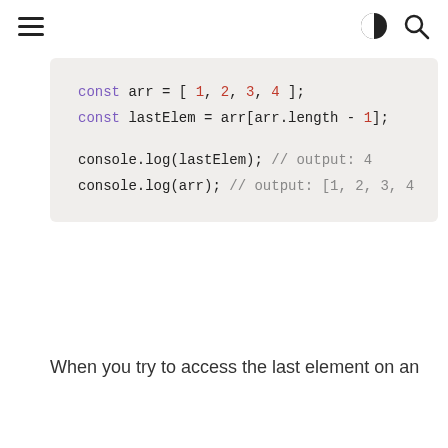≡  ◑  🔍
[Figure (screenshot): Code block showing JavaScript array access: const arr = [ 1, 2, 3, 4 ]; const lastElem = arr[arr.length - 1]; console.log(lastElem); // output: 4  console.log(arr); // output: [1, 2, 3, 4]
When you try to access the last element on an